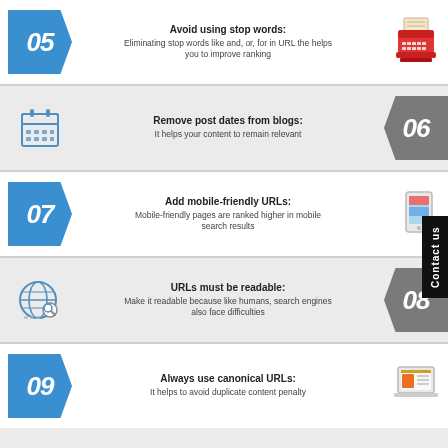05 | Avoid using stop words: Eliminating stop words like and, or, for in URL the helps you to improve ranking
06 | Remove post dates from blogs: It helps your content to remain relevant
07 | Add mobile-friendly URLs: Mobile-friendly pages are ranked higher in mobile search results
08 | URLs must be readable: Make it readable because like humans, search engines also face difficulties
09 | Always use canonical URLs: It helps to avoid duplicate content penalty